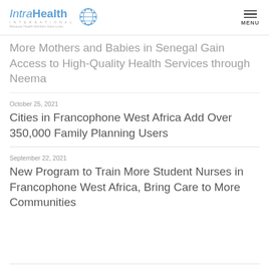IntraHealth International — Because Health Workers Save Lives. MENU
More Mothers and Babies in Senegal Gain Access to High-Quality Health Services through Neema
October 25, 2021
Cities in Francophone West Africa Add Over 350,000 Family Planning Users
September 22, 2021
New Program to Train More Student Nurses in Francophone West Africa, Bring Care to More Communities